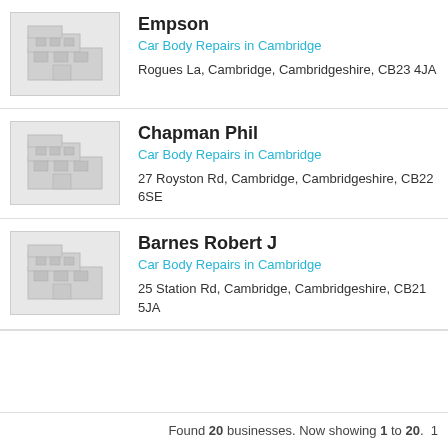Empson — Car Body Repairs in Cambridge — Rogues La, Cambridge, Cambridgeshire, CB23 4JA
Chapman Phil — Car Body Repairs in Cambridge — 27 Royston Rd, Cambridge, Cambridgeshire, CB22 6SE
Barnes Robert J — Car Body Repairs in Cambridge — 25 Station Rd, Cambridge, Cambridgeshire, CB21 5JA
Found 20 businesses. Now showing 1 to 20.  1